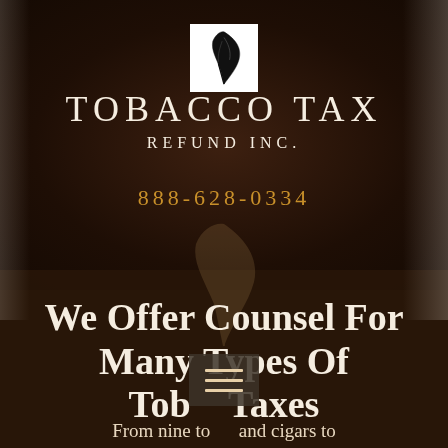[Figure (logo): White square containing a black feather/quill logo for Tobacco Tax Refund Inc.]
TOBACCO TAX REFUND INC.
888-628-0334
We Offer Counsel For Many Types Of Tobacco Taxes
From nine to and cigars to